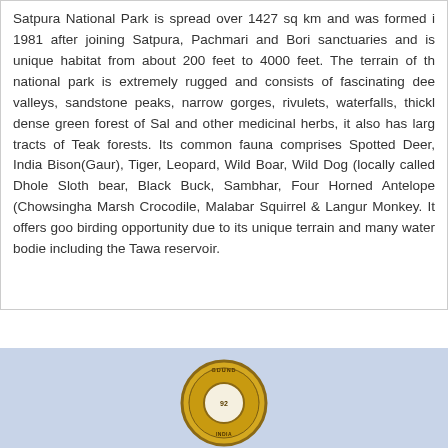Satpura National Park is spread over 1427 sq km and was formed in 1981 after joining Satpura, Pachmari and Bori sanctuaries and is unique habitat from about 200 feet to 4000 feet. The terrain of the national park is extremely rugged and consists of fascinating deep valleys, sandstone peaks, narrow gorges, rivulets, waterfalls, thick dense green forest of Sal and other medicinal herbs, it also has large tracts of Teak forests. Its common fauna comprises Spotted Deer, Indian Bison(Gaur), Tiger, Leopard, Wild Boar, Wild Dog (locally called Dhole), Sloth bear, Black Buck, Sambhar, Four Horned Antelope (Chowsingha), Marsh Crocodile, Malabar Squirrel & Langur Monkey. It offers good birding opportunity due to its unique terrain and many water bodies including the Tawa reservoir.
[Figure (logo): Circular gold logo with text around the border and an inner circle, partially visible at bottom center of page]